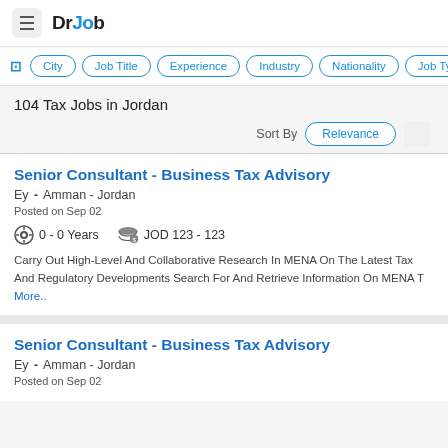DrJob
City | Job Title | Experience | Industry | Nationality | Job Ty
104 Tax Jobs in Jordan
Sort By   Relevance
Senior Consultant - Business Tax Advisory
Ey - Amman - Jordan
Posted on Sep 02
0 - 0 Years   JOD 123 - 123
Carry Out High-Level And Collaborative Research In MENA On The Latest Tax And Regulatory Developments Search For And Retrieve Information On MENA T More..
Senior Consultant - Business Tax Advisory
Ey - Amman - Jordan
Posted on Sep 02